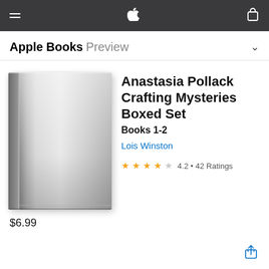Apple Books Preview
[Figure (illustration): Book cover placeholder — plain light gray hardcover book with white spine highlight on left, gradient shading. No title text on cover.]
Anastasia Pollack Crafting Mysteries Boxed Set Books 1-2
Lois Winston
★★★★☆ 4.2 • 42 Ratings
$6.99